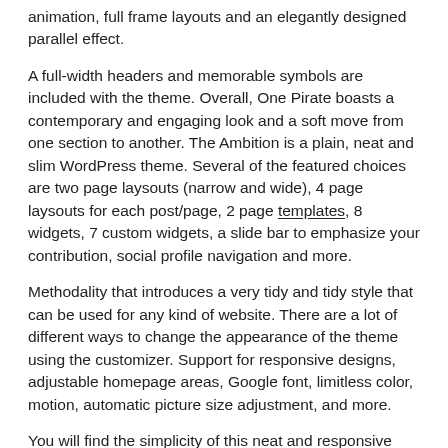animation, full frame layouts and an elegantly designed parallel effect.
A full-width headers and memorable symbols are included with the theme. Overall, One Pirate boasts a contemporary and engaging look and a soft move from one section to another. The Ambition is a plain, neat and slim WordPress theme. Several of the featured choices are two page laysouts (narrow and wide), 4 page laysouts for each post/page, 2 page templates, 8 widgets, 7 custom widgets, a slide bar to emphasize your contribution, social profile navigation and more.
Methodality that introduces a very tidy and tidy style that can be used for any kind of website. There are a lot of different ways to change the appearance of the theme using the customizer. Support for responsive designs, adjustable homepage areas, Google font, limitless color, motion, automatic picture size adjustment, and more.
You will find the simplicity of this neat and responsive WordPress theme to make working with your contents easier.